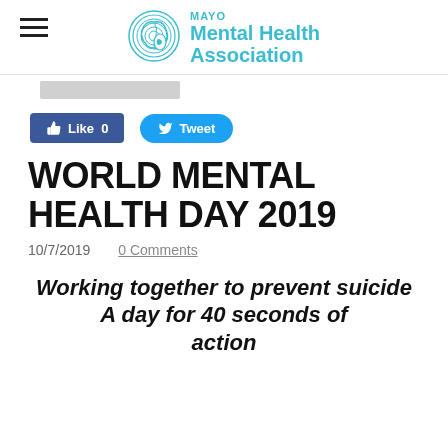MAYO Mental Health Association
[Figure (logo): Mayo Mental Health Association circular logo with concentric wave lines forming a brain/head shape]
Like 0   Tweet
WORLD MENTAL HEALTH DAY 2019
10/7/2019   0 Comments
Working together to prevent suicide A day for 40 seconds of action